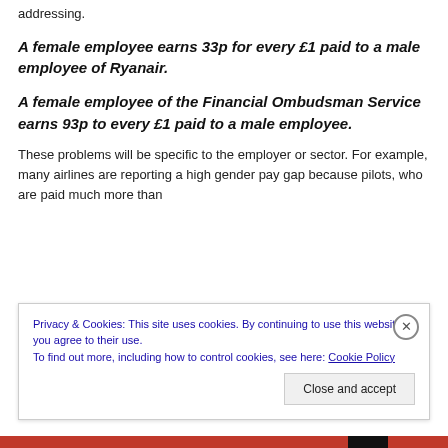addressing.
A female employee earns 33p for every £1 paid to a male employee of Ryanair.
A female employee of the Financial Ombudsman Service earns 93p to every £1 paid to a male employee.
These problems will be specific to the employer or sector. For example, many airlines are reporting a high gender pay gap because pilots, who are paid much more than
Privacy & Cookies: This site uses cookies. By continuing to use this website, you agree to their use.
To find out more, including how to control cookies, see here: Cookie Policy
Close and accept